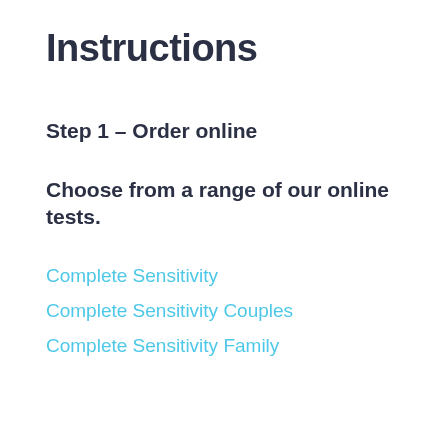Instructions
Step 1 – Order online
Choose from a range of our online tests.
Complete Sensitivity
Complete Sensitivity Couples
Complete Sensitivity Family